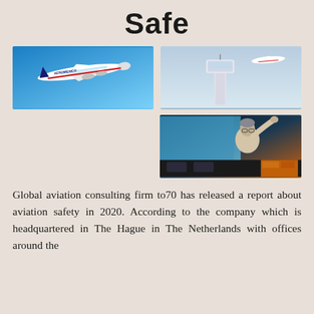Safe
[Figure (photo): Aeromexico Boeing 787 aircraft in flight against a blue sky]
[Figure (photo): Airport control tower with an aircraft flying past in the background against a light blue sky]
[Figure (photo): Pilot in cockpit reaching up to overhead controls, surrounded by instrument panels and screens]
Global aviation consulting firm to70 has released a report about aviation safety in 2020. According to the company which is headquartered in The Hague in The Netherlands with offices around the